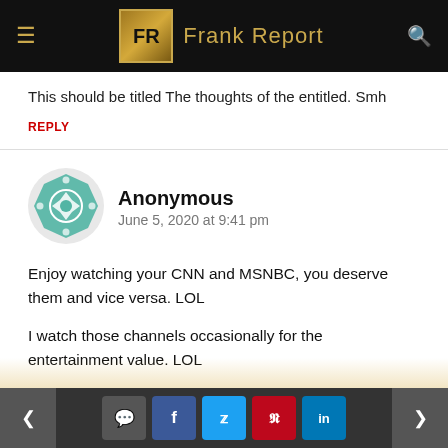Frank Report
This should be titled The thoughts of the entitled. Smh
REPLY
Anonymous
June 5, 2020 at 9:41 pm
Enjoy watching your CNN and MSNBC, you deserve them and vice versa. LOL
I watch those channels occasionally for the entertainment value. LOL
I'm not buying what you're trying to sell. LOL
< [comment] [f] [tweet] [pinterest] [in] >